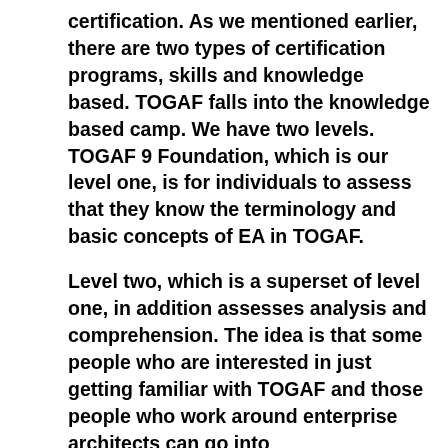certification. As we mentioned earlier, there are two types of certification programs, skills and knowledge based. TOGAF falls into the knowledge based camp. We have two levels. TOGAF 9 Foundation, which is our level one, is for individuals to assess that they know the terminology and basic concepts of EA in TOGAF.
Level two, which is a superset of level one, in addition assesses analysis and comprehension. The idea is that some people who are interested in just getting familiar with TOGAF and those people who work around enterprise architects can go into